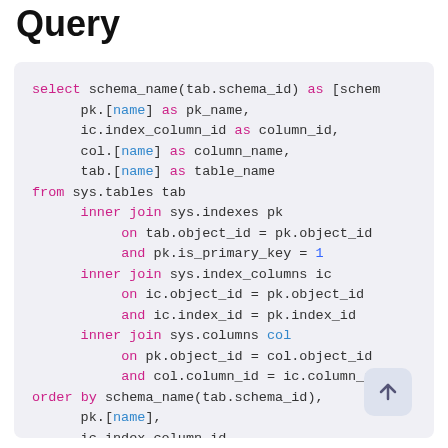Query
select schema_name(tab.schema_id) as [schem
    pk.[name] as pk_name,
    ic.index_column_id as column_id,
    col.[name] as column_name,
    tab.[name] as table_name
from sys.tables tab
    inner join sys.indexes pk
        on tab.object_id = pk.object_id
        and pk.is_primary_key = 1
    inner join sys.index_columns ic
        on ic.object_id = pk.object_id
        and ic.index_id = pk.index_id
    inner join sys.columns col
        on pk.object_id = col.object_id
        and col.column_id = ic.column_id
order by schema_name(tab.schema_id),
    pk.[name],
    ic.index_column_id